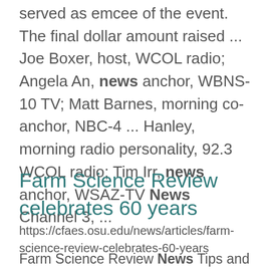served as emcee of the event. The final dollar amount raised ... Joe Boxer, host, WCOL radio; Angela An, news anchor, WBNS-10 TV; Matt Barnes, morning co-anchor, NBC-4 ... Hanley, morning radio personality, 92.3 WCOL radio; Tim Irr, news anchor, WSAZ-TV News Channel 3, ...
Farm Science Review celebrates 60 years
https://cfaes.osu.edu/news/articles/farm-science-review-celebrates-60-years
Farm Science Review News Tips and Events Business and Economics Tracy